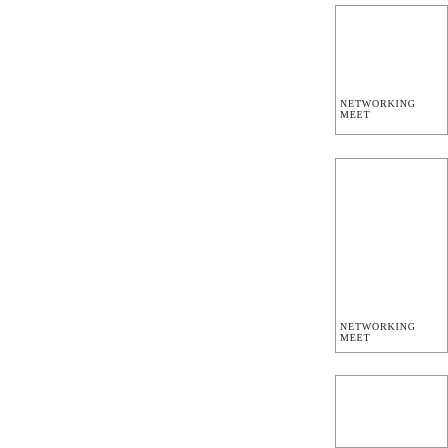[Figure (other): Partial view of a rectangular box with text 'NETWORKING MEET' visible at bottom right, cut off at right edge. Top portion of page.]
[Figure (other): Partial view of a rectangular box with text 'NETWORKING MEET' visible at bottom, cut off at right edge. Middle portion of page.]
[Figure (other): Partial view of a rectangular box, no text visible, cut off at right and bottom edges. Bottom portion of page.]